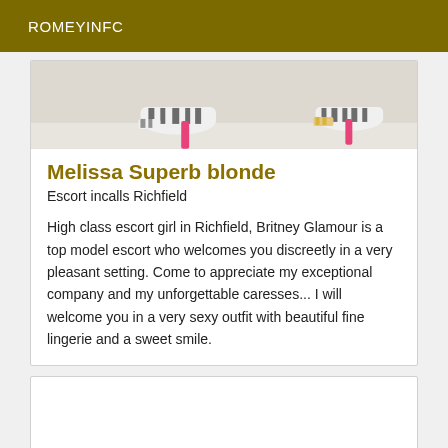ROMEYINFC
[Figure (photo): Cropped photo showing women's high-heeled shoes with zebra print and pink stiletto heels on a white floor background]
Melissa Superb blonde
Escort incalls Richfield
High class escort girl in Richfield, Britney Glamour is a top model escort who welcomes you discreetly in a very pleasant setting. Come to appreciate my exceptional company and my unforgettable caresses... I will welcome you in a very sexy outfit with beautiful fine lingerie and a sweet smile.